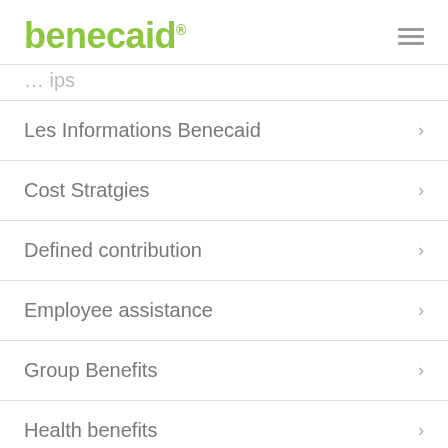benecaid®
Les Informations Benecaid
Cost Stratgies
Defined contribution
Employee assistance
Group Benefits
Health benefits